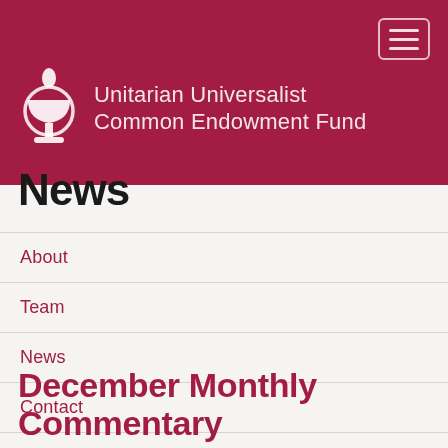[Figure (logo): Unitarian Universalist Common Endowment Fund logo with chalice icon and organization name on dark red/crimson header bar]
News
About
Team
News
Contact
December Monthly Commentary